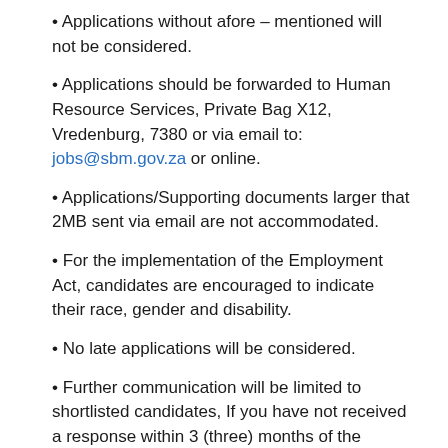Applications without afore – mentioned will not be considered.
Applications should be forwarded to Human Resource Services, Private Bag X12, Vredenburg, 7380 or via email to: jobs@sbm.gov.za or online.
Applications/Supporting documents larger that 2MB sent via email are not accommodated.
For the implementation of the Employment Act, candidates are encouraged to indicate their race, gender and disability.
No late applications will be considered.
Further communication will be limited to shortlisted candidates, If you have not received a response within 3 (three) months of the closing date, please consider your application unsuccessful.